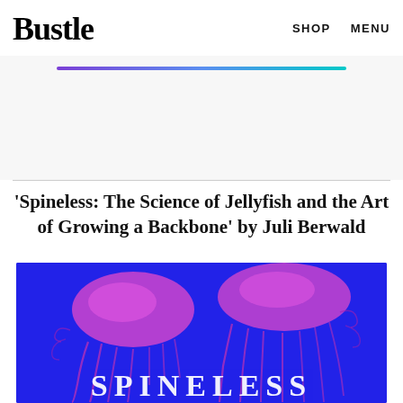Bustle  SHOP  MENU
[Figure (screenshot): Gradient progress bar going from purple to teal/cyan]
[Figure (illustration): Book cover for 'Spineless: The Science of Jellyfish and the Art of Growing a Backbone' by Juli Berwald. Blue background with pink/magenta jellyfish illustrations and the title 'SPINELESS' in white at the bottom.]
'Spineless: The Science of Jellyfish and the Art of Growing a Backbone' by Juli Berwald